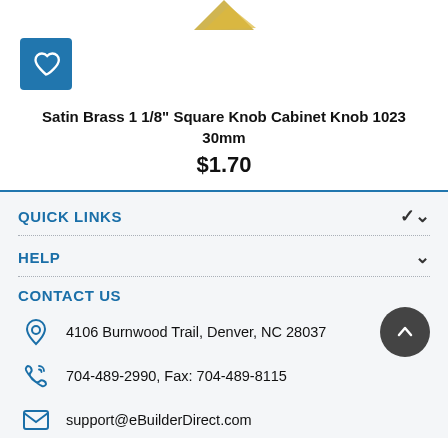[Figure (photo): Partial view of a satin brass square cabinet knob product photo at the top of the page]
[Figure (other): Blue square button with a white heart outline icon (wishlist/favorite button)]
Satin Brass 1 1/8" Square Knob Cabinet Knob 1023 30mm
$1.70
QUICK LINKS
HELP
CONTACT US
4106 Burnwood Trail, Denver, NC 28037
704-489-2990, Fax: 704-489-8115
support@eBuilderDirect.com